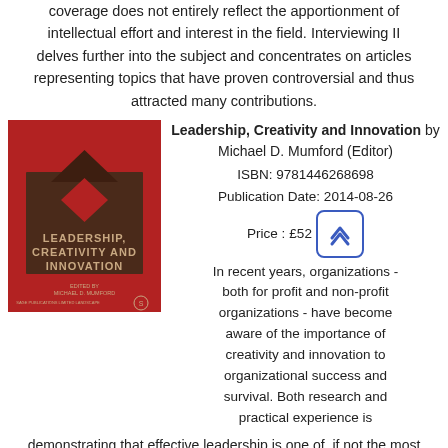coverage does not entirely reflect the apportionment of intellectual effort and interest in the field. Interviewing II delves further into the subject and concentrates on articles representing topics that have proven controversial and thus attracted many contributions.
[Figure (photo): Book cover of 'Leadership, Creativity and Innovation' edited by Michael D. Mumford, published by SAGE, red cover with geometric diamond shapes]
Leadership, Creativity and Innovation by Michael D. Mumford (Editor) ISBN: 9781446268698 Publication Date: 2014-08-26 Price : £525
In recent years, organizations - both for profit and non-profit organizations - have become aware of the importance of creativity and innovation to organizational success and survival. Both research and practical experience is
demonstrating that effective leadership is one of, if not the most important, influences on these intangible assets. This three-volume set